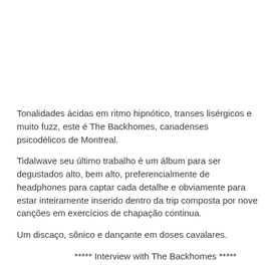Tonalidades ácidas em ritmo hipnótico, transes lisérgicos e muito fuzz, este é The Backhomes, canadenses psicodélicos de Montreal.
Tidalwave seu último trabalho é um álbum para ser degustados alto, bem alto, preferencialmente de headphones para captar cada detalhe e obviamente para estar inteiramente inserido dentro da trip composta por nove canções em exercícios de chapação continua.
Um discaço, sônico e dançante em doses cavalares.
***** Interview with The Backhomes *****